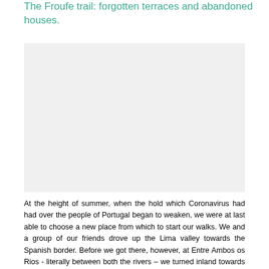The Froufe trail: forgotten terraces and abandoned houses.
[Figure (photo): Photograph of the Froufe trail area showing terraces and abandoned houses in a Portuguese landscape.]
At the height of summer, when the hold which Coronavirus had had over the people of Portugal began to weaken, we were at last able to choose a new place from which to start our walks. We and a group of our friends drove up the Lima valley towards the Spanish border. Before we got there, however, at Entre Ambos os Rios - literally between both the rivers – we turned inland towards the village of Froufe, where a walking trail follows a little river of the same name.